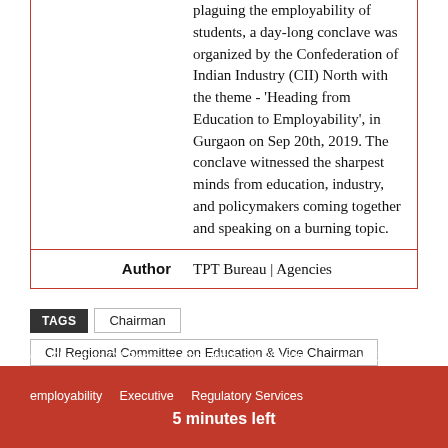plaguing the employability of students, a day-long conclave was organized by the Confederation of Indian Industry (CII) North with the theme - 'Heading from Education to Employability', in Gurgaon on Sep 20th, 2019. The conclave witnessed the sharpest minds from education, industry, and policymakers coming together and speaking on a burning topic.
Author: TPT Bureau | Agencies
TAGS: Chairman | CII Regional Committee on Education & Vice Chairman | Co-Chairman CII Regional Committee on Education | IIC V.K.Gupta | employability | Executive | Regulatory Services